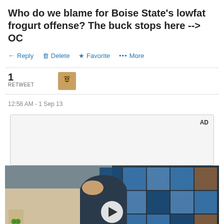Who do we blame for Boise State's lowfat frogurt offense? The buck stops here --> OC
Reply  Delete  Favorite  More
1
RETWEET
12:58 AM - 1 Sep 13
[Figure (screenshot): Advertisement area labeled AD with gray background]
[Figure (photo): Video player showing a young man standing in a store with blue tile wall behind him, text reads 'Unfold your world' with a play button overlay]